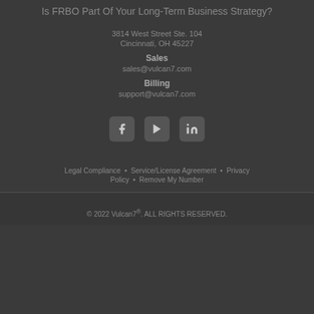Is FRBO Part Of Your Long-Term Business Strategy?
3814 West Street Ste. 104
Cincinnati, OH 45227
Sales
sales@vulcan7.com
Billing
support@vulcan7.com
[Figure (logo): Social media icons: Facebook, YouTube, LinkedIn]
Legal Compliance  •  Service/License Agreement  •  Privacy Policy  •  Remove My Number
© 2022 Vulcan7®. ALL RIGHTS RESERVED.